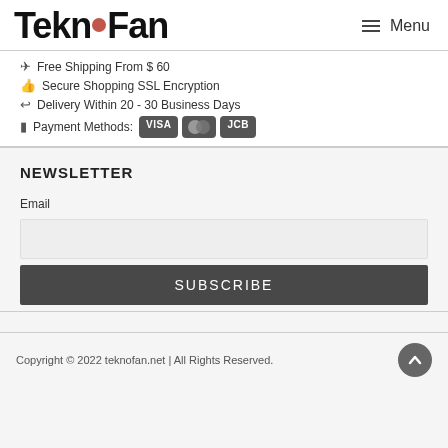Teknofan Menu
✈ Free Shipping From $ 60
👍 Secure Shopping SSL Encryption
↩ Delivery Within 20 - 30 Business Days
🖳 Payment Methods: VISA Mastercard JCB
NEWSLETTER
Email
SUBSCRIBE
Copyright © 2022 teknofan.net | All Rights Reserved.